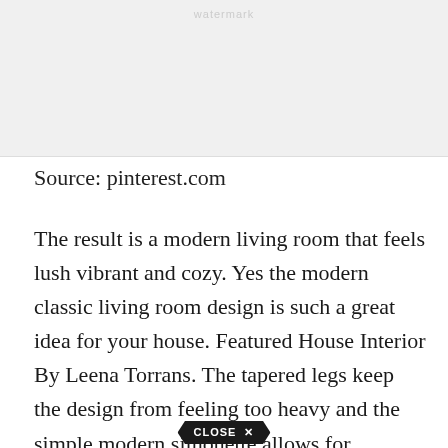[Figure (photo): Light gray image placeholder area at the top of the page with faint watermark text]
Source: pinterest.com
The result is a modern living room that feels lush vibrant and cozy. Yes the modern classic living room design is such a great idea for your house. Featured House Interior By Leena Torrans. The tapered legs keep the design from feeling too heavy and the simple modern silhouette allows for